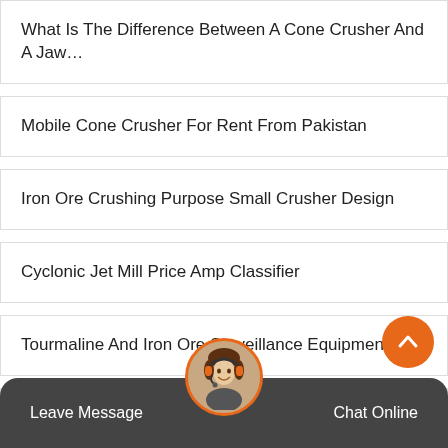What Is The Difference Between A Cone Crusher And A Jaw…
Mobile Cone Crusher For Rent From Pakistan
Iron Ore Crushing Purpose Small Crusher Design
Cyclonic Jet Mill Price Amp Classifier
Tourmaline And Iron Ore Surveillance Equipment
Portable Diesel Powered Rock Aggregate Crusher
Gravel Breaker Machine In Sri Lanka
Cost Of Tph Stone Crusher In South Africa
[Figure (photo): Customer service avatar with headset, circular crop with orange border]
Leave Message   Chat Online